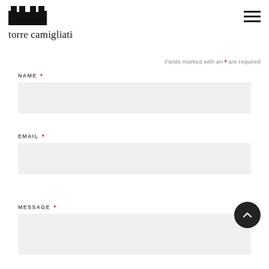[Figure (logo): Torre Camigliati logo: castle/pillow shaped black icon above the text 'torre camigliati' in serif font]
Fields marked with an * are required
NAME *
EMAIL *
MESSAGE *